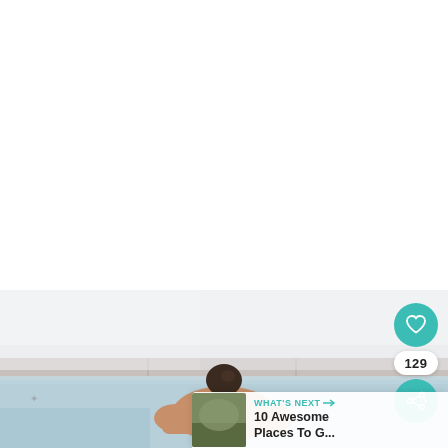[Figure (photo): A woman with dark hair in a bun, seen from behind, soaking in a geothermal hot spring pool. The water is milky blue-grey. A misty, foggy background with a white wall or barrier visible. The upper portion of the page is white/blank.]
129
WHAT'S NEXT → 10 Awesome Places To G...